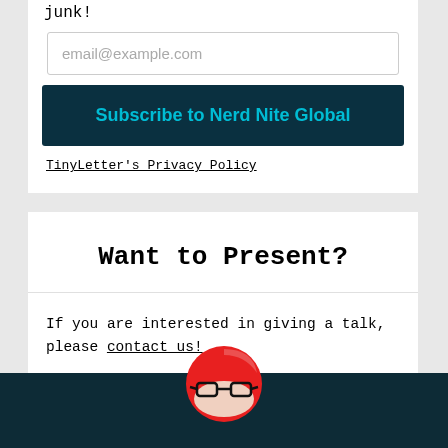junk!
email@example.com
Subscribe to Nerd Nite Global
TinyLetter's Privacy Policy
Want to Present?
If you are interested in giving a talk, please contact us!
[Figure (logo): Nerd Nite logo: red circle with stylized glasses icon in black and white/pink]